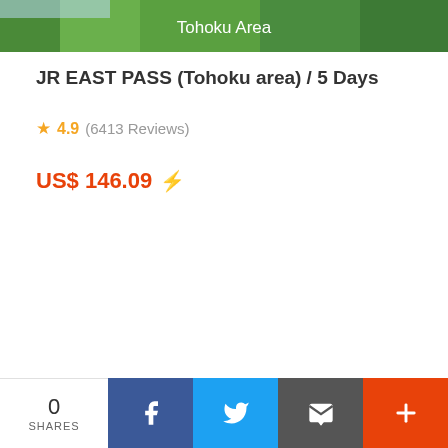[Figure (photo): Green landscape banner image with 'Tohoku Area' label overlaid in white text]
JR EAST PASS (Tohoku area) / 5 Days
★ 4.9  (6413 Reviews)
US$ 146.09  ⚡
0 SHARES | Facebook | Twitter | Email | More